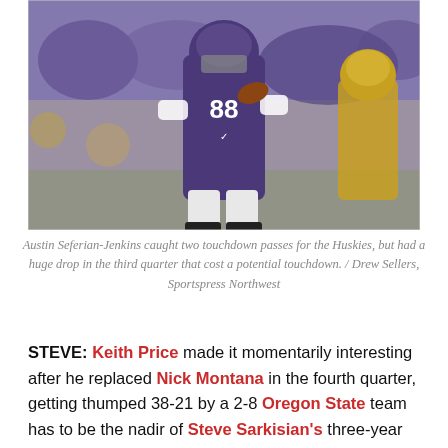[Figure (photo): A University of Washington Huskies football player wearing jersey number 88 in purple uniform runs with the ball during a game, with an opposing player in yellow and blue partially visible on the right.]
Austin Seferian-Jenkins caught two touchdown passes for the Huskies, but had a huge drop in the third quarter that cost a potential touchdown. / Drew Sellers, Sportspress Northwest
STEVE: Keith Price made it momentarily interesting after he replaced Nick Montana in the fourth quarter, getting thumped 38-21 by a 2-8 Oregon State team has to be the nadir of Steve Sarkisian's three-year tenure at